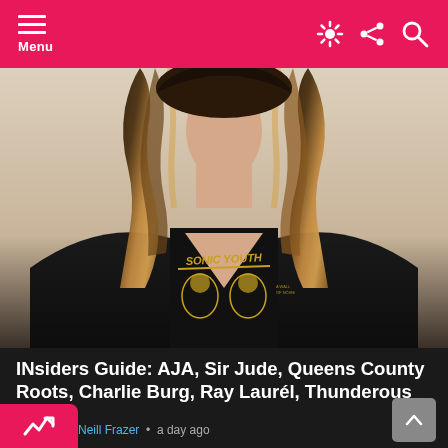Menu
[Figure (photo): Person wearing a black Sonic Youth band t-shirt with yellow graphic print, visible from shoulders down, with curly blonde/brown highlighted hair, photographed against a light beige/pink background]
INsiders Guide: AJA, Sir Jude, Queens County Roots, Charlie Burg, Ray Laurél, Thunderous Knight, INDIA SHAWN, Glory Guitars, CLOUDxCITY, Goldie Vargas, Tommy Newport....
by Neill Frazer • a day ago